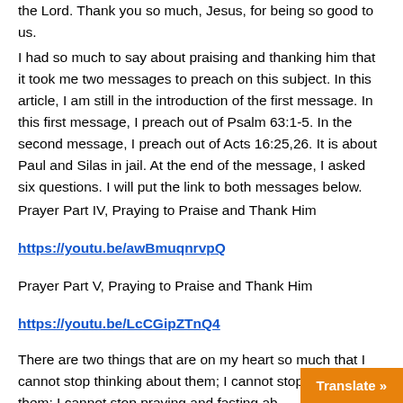the Lord. Thank you so much, Jesus, for being so good to us.
I had so much to say about praising and thanking him that it took me two messages to preach on this subject. In this article, I am still in the introduction of the first message. In this first message, I preach out of Psalm 63:1-5. In the second message, I preach out of Acts 16:25,26. It is about Paul and Silas in jail. At the end of the message, I asked six questions. I will put the link to both messages below.
Prayer Part IV, Praying to Praise and Thank Him
https://youtu.be/awBmuqnrvpQ
Prayer Part V, Praying to Praise and Thank Him
https://youtu.be/LcCGipZTnQ4
There are two things that are on my heart so much that I cannot stop thinking about them; I cannot stop crying about them; I cannot stop praying and fasting about them; I cannot stop spreading them around the world.